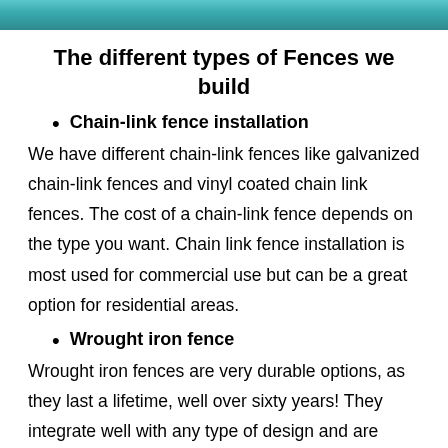[Figure (photo): Outdoor photo strip at the top of the page]
The different types of Fences we build
Chain-link fence installation
We have different chain-link fences like galvanized chain-link fences and vinyl coated chain link fences. The cost of a chain-link fence depends on the type you want. Chain link fence installation is most used for commercial use but can be a great option for residential areas.
Wrought iron fence
Wrought iron fences are very durable options, as they last a lifetime, well over sixty years! They integrate well with any type of design and are overall elegant. At